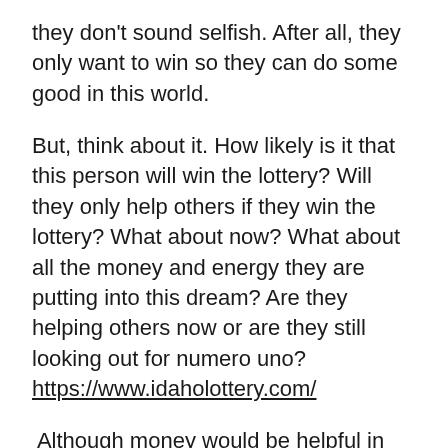they don't sound selfish. After all, they only want to win so they can do some good in this world.
But, think about it. How likely is it that this person will win the lottery? Will they only help others if they win the lottery? What about now? What about all the money and energy they are putting into this dream? Are they helping others now or are they still looking out for numero uno? https://www.idaholottery.com/
Although money would be helpful in doing good for others, it isn't necessary. Do you have an hour to spare, once a week? It doesn't take much to help. You could read